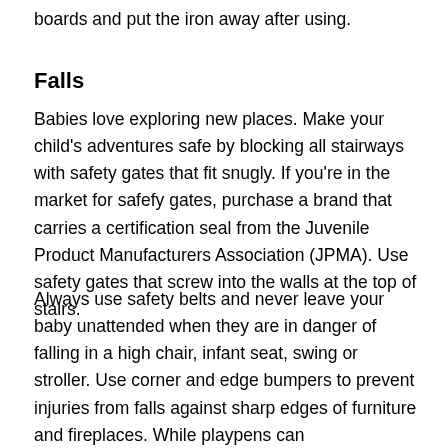boards and put the iron away after using.
Falls
Babies love exploring new places. Make your child's adventures safe by blocking all stairways with safety gates that fit snugly. If you're in the market for safefy gates, purchase a brand that carries a certification seal from the Juvenile Product Manufacturers Association (JPMA). Use safety gates that screw into the walls at the top of stairs.
Always use safety belts and never leave your baby unattended when they are in danger of falling in a high chair, infant seat, swing or stroller. Use corner and edge bumpers to prevent injuries from falls against sharp edges of furniture and fireplaces. While playpens can